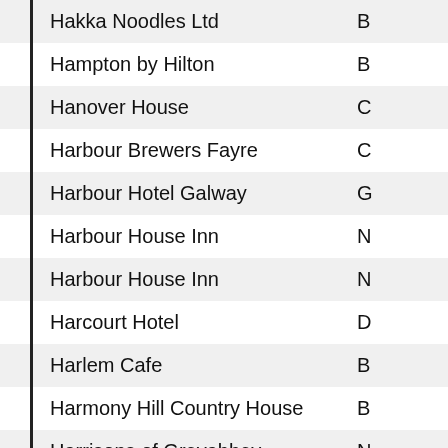| Name | Location |
| --- | --- |
| Hakka Noodles Ltd | B |
| Hampton by Hilton | B |
| Hanover House | C |
| Harbour Brewers Fayre | C |
| Harbour Hotel Galway | G |
| Harbour House Inn | N |
| Harbour House Inn | N |
| Harcourt Hotel | D |
| Harlem Cafe | B |
| Harmony Hill Country House | B |
| Harrisons of Greyabbey | N |
| Harrys | B |
| Harrys Bar & Restaurant | B |
| Harveys Point | D |
| Havana Bank Sq | B |
| Headfort Arms Hotel | K |
| Hell Cat Maggies | B |
| Hen Party Belfast | B |
| Henny - The Jailhouse | B |